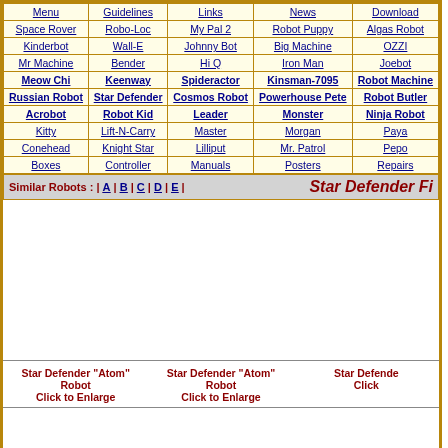| Menu | Guidelines | Links | News | Download |
| --- | --- | --- | --- | --- |
| Space Rover | Robo-Loc | My Pal 2 | Robot Puppy | Algas Robot |
| Kinderbot | Wall-E | Johnny Bot | Big Machine | OZZI |
| Mr Machine | Bender | Hi Q | Iron Man | Joebot |
| Meow Chi | Keenway | Spideractor | Kinsman-7095 | Robot Machine |
| Russian Robot | Star Defender | Cosmos Robot | Powerhouse Pete | Robot Butler |
| Acrobot | Robot Kid | Leader | Monster | Ninja Robot |
| Kitty | Lift-N-Carry | Master | Morgan | Paya |
| Conehead | Knight Star | Lilliput | Mr. Patrol | Pepo |
| Boxes | Controller | Manuals | Posters | Repairs |
Similar Robots : | A | B | C | D | E |    Star Defender Fi
Star Defender "Atom" Robot Click to Enlarge
Star Defender "Atom" Robot Click to Enlarge
Star Defende... Click...